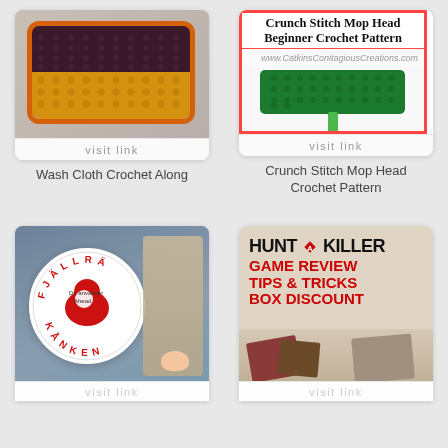[Figure (photo): Crocheted wash cloth in dark purple/maroon and golden yellow colors on a light purple fabric background, shown in a white polaroid-style card]
visit link
Wash Cloth Crochet Along
[Figure (photo): Crunch Stitch Mop Head Beginner Crochet Pattern - text title with image of green crocheted mop head on a broom handle, inside a red-bordered card]
visit link
Crunch Stitch Mop Head Crochet Pattern
[Figure (photo): Fjallraven Kanken bag logo embroidery hoop art with floral embroidery, red fox logo on white circle with red text FJALLRAVEN KANKEN]
visit link
[Figure (photo): Hunt a Killer game review advertisement with black and red text on cream/tan background reading HUNT A KILLER GAME REVIEW TIPS & TRICKS BOX DISCOUNT]
visit link